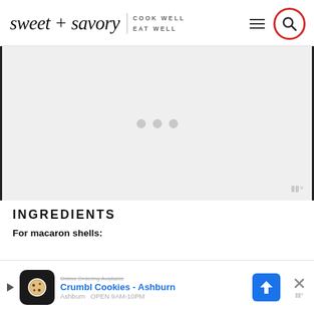sweet + savory — COOK WELL EAT WELL
[Figure (other): Advertisement placeholder with three grey dots and Mediavine badge]
INGREDIENTS
For macaron shells:
[Figure (other): Bottom banner advertisement for Crumbl Cookies - Ashburn, showing logo, text, and navigation arrow icon, with close button]